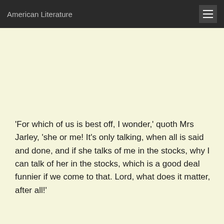American Literature
'For which of us is best off, I wonder,' quoth Mrs Jarley, 'she or me! It's only talking, when all is said and done, and if she talks of me in the stocks, why I can talk of her in the stocks, which is a good deal funnier if we come to that. Lord, what does it matter, after all!'
Having arrived at this comfortable frame of mind (to